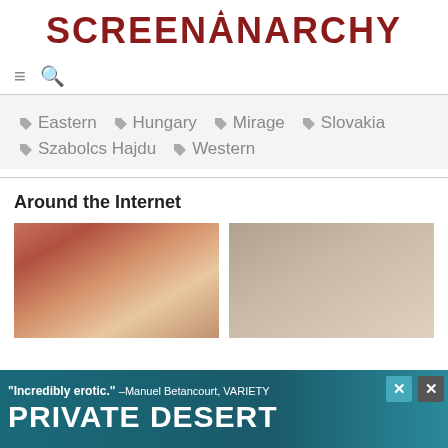SCREENANARCHY
≡  🔍
Eastern  Hungary  Mirage  Slovakia  Szabolcs Hajdu  Western
Around the Internet
[Figure (photo): Two photo thumbnails of women's faces side by side]
[Figure (screenshot): Advertisement banner: 'Incredibly erotic.' –Manuel Betancourt, VARIETY. PRIVATE DESERT]